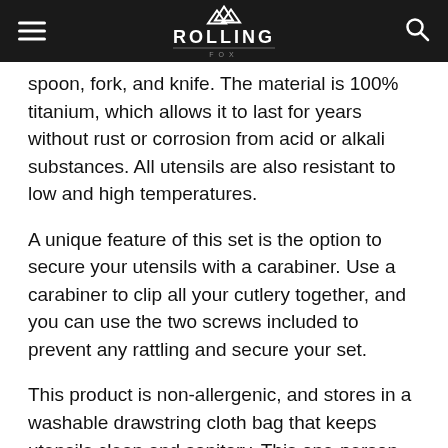Rolling Fox
spoon, fork, and knife. The material is 100% titanium, which allows it to last for years without rust or corrosion from acid or alkali substances. All utensils are also resistant to low and high temperatures.
A unique feature of this set is the option to secure your utensils with a carabiner. Use a carabiner to clip all your cutlery together, and you can use the two screws included to prevent any rattling and secure your set.
This product is non-allergenic, and stores in a washable drawstring cloth bag that keeps utensils clean and sanitary. This one-person